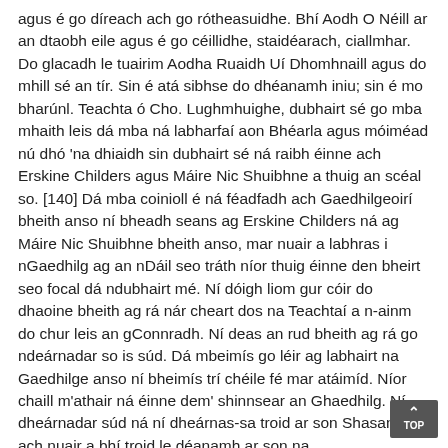agus é go díreach ach go rótheasuidhe. Bhí Aodh O Néill ar an dtaobh eile agus é go céillidhe, staidéarach, ciallmhar. Do glacadh le tuairim Aodha Ruaidh Uí Dhomhnaill agus do mhill sé an tír. Sin é atá sibhse do dhéanamh iniu; sin é mo bharúnl. Teachta ó Cho. Lughmhuighe, dubhairt sé go mba mhaith leis dá mba ná labharfaí aon Bhéarla agus móiméad nú dhó 'na dhiaidh sin dubhairt sé ná raibh éinne ach Erskine Childers agus Máire Nic Shuibhne a thuig an scéal so. [140] Dá mba coinioll é ná féadfadh ach Gaedhilgeoirí bheith anso ní bheadh seans ag Erskine Childers ná ag Máire Nic Shuibhne bheith anso, mar nuair a labhras i nGaedhilg ag an nDáil seo tráth níor thuig éinne den bheirt seo focal dá ndubhairt mé. Ní dóigh liom gur cóir do dhaoine bheith ag rá nár cheart dos na Teachtaí a n-ainm do chur leis an gConnradh. Ní deas an rud bheith ag rá go ndeárnadar so is súd. Dá mbeimís go léir ag labhairt na Gaedhilge anso ní bheimís trí chéile fé mar atáimíd. Níor chaill m'athair ná éinne dem' shinnsear an Ghaedhilg. Ní dheárnadar súd ná ní dheárnas-sa troid ar son Shasana, ach nuair a bhí troid le déanamh ar son na